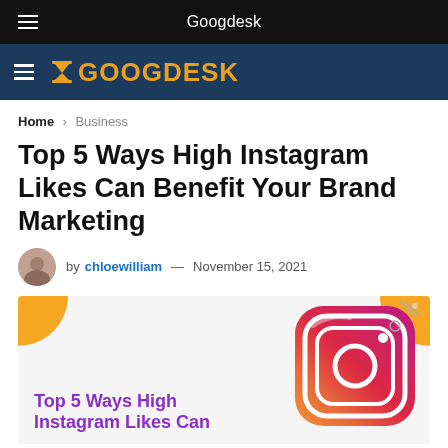Googdesk
GOOGDESK
Home > Business
Top 5 Ways High Instagram Likes Can Benefit Your Brand Marketing
by chloewilliam — November 15, 2021
[Figure (illustration): Article feature image with yellow corner accents, purple bold text reading 'Top 5 Ways High Instagram Likes Can' and an Instagram app icon logo on the right side.]